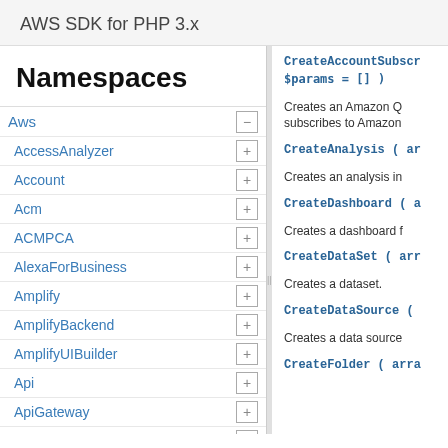AWS SDK for PHP 3.x
Namespaces
Aws
AccessAnalyzer
Account
Acm
ACMPCA
AlexaForBusiness
Amplify
AmplifyBackend
AmplifyUIBuilder
Api
ApiGateway
ApiGatewayManagementApi
CreateAccountSubscr $params = [] )
Creates an Amazon Q subscribes to Amazon
CreateAnalysis ( ar
Creates an analysis in
CreateDashboard ( a
Creates a dashboard f
CreateDataSet ( arr
Creates a dataset.
CreateDataSource (
Creates a data source
CreateFolder ( arra